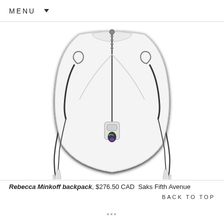MENU
[Figure (photo): White Rebecca Minkoff backpack shown from the front/back, with dark zipper straps and metallic hardware, on a white background]
Rebecca Minkoff backpack, $276.50 CAD  Saks Fifth Avenue
BACK TO TOP
***